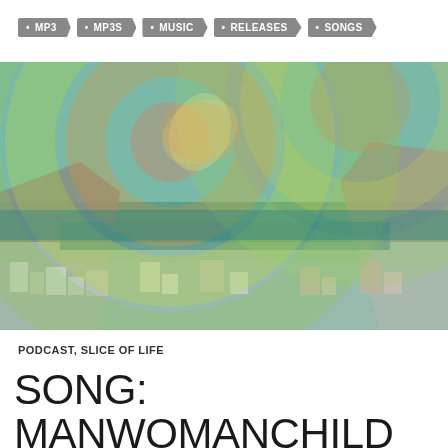MP3 · MP3S · MUSIC · RELEASES · SONGS
[Figure (photo): Aerial/elevated view of a coastal town nestled between rocky hills, with a colorful psychedelic overlay of large concentric circles in green, yellow, and red/pink hues over the sky portion of the image.]
PODCAST, SLICE OF LIFE
SONG: MANWOMANCHILD RECENT HISTORY